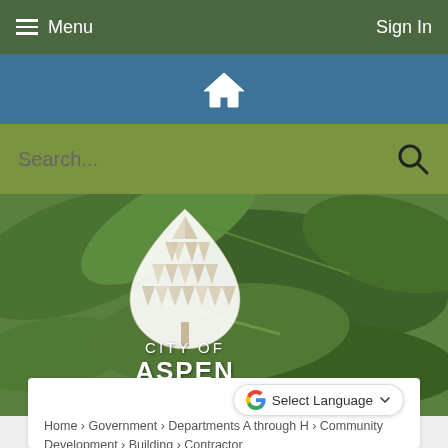Menu    Sign In
[Figure (screenshot): City of Aspen website navigation with home icon, search bar with green background, and hero image of green leaves with City of Aspen logo (stylized white tree/leaf shape inside a teardrop) and text CITY OF ASPEN]
Home › Government › Departments A through H › Community Development › Building › Contractor
Select Language